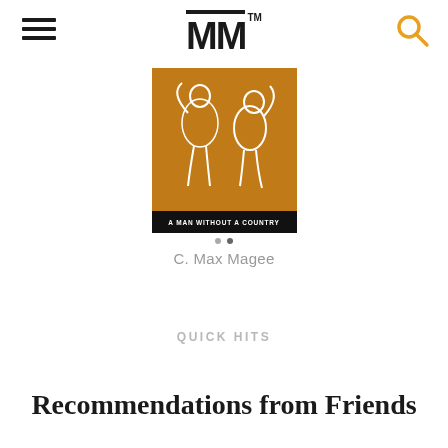MM™
[Figure (photo): Book cover image for 'A Man Without a Country' with orange/brown background and illustrated figures, displayed as a carousel item]
C. Max Magee
QUICK HITS
Recommendations from Friends